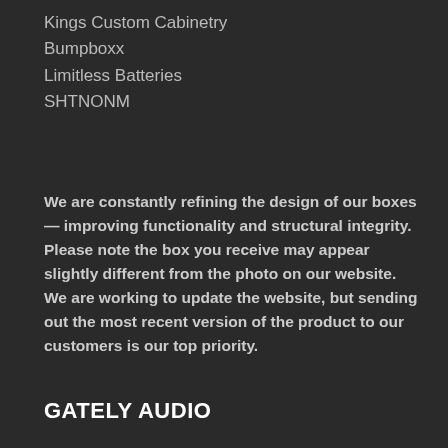Kings Custom Cabinetry
Bumpboxx
Limitless Batteries
SHTNONM
We are constantly refining the design of our boxes — improving functionality and structural integrity. Please note the box you receive may appear slightly different from the photo on our website. We are working to update the website, but sending out the most recent version of the product to our customers is our top priority.
GATELY AUDIO